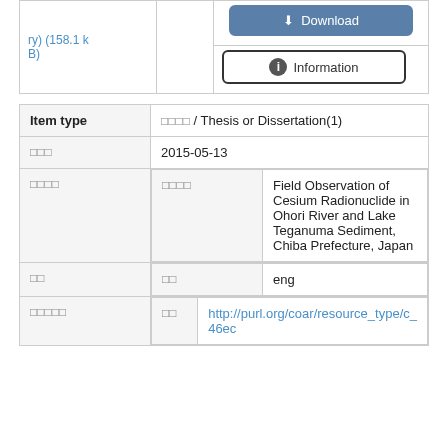| file |  | buttons |
| --- | --- | --- |
| ry) (158.1 k
B) |  | Download / Information |
| Field | Value |
| --- | --- |
| Item type | 䶵䶵䶵䶵 / Thesis or Dissertation(1) |
| 䶵䶵䶵 | 2015-05-13 |
| 䶵䶵䶵䶵 |  |
|   䶵䶵䶵䶵 | Field Observation of Cesium Radionuclide in Ohori River and Lake Teganuma Sediment, Chiba Prefecture, Japan |
| 䶵䶵 |  |
|   䶵䶵 | eng |
| 䶵䶵䶵䶵䶵 |  |
|   䶵䶵 | http://purl.org/coar/resource_type/c_46ec |